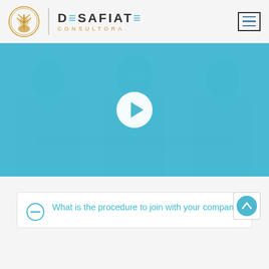[Figure (logo): Desafiate Consultora logo with golden tree/maze icon and dark text with teal accent letters]
[Figure (screenshot): Video thumbnail showing three people in a meeting with a teal/cyan color overlay and a white play button in the center]
What is the procedure to join with your company?